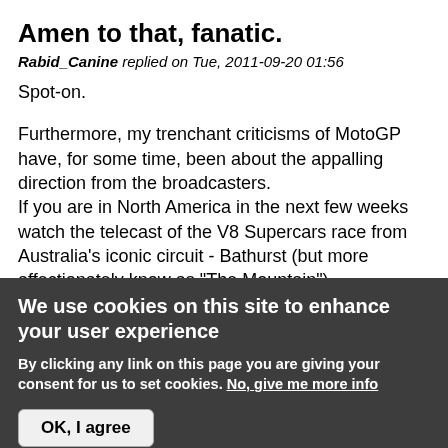Amen to that, fanatic.
Rabid_Canine replied on Tue, 2011-09-20 01:56
Spot-on.
Furthermore, my trenchant criticisms of MotoGP have, for some time, been about the appalling direction from the broadcasters.
If you are in North America in the next few weeks watch the telecast of the V8 Supercars race from Australia's iconic circuit - Bathurst (but more affectionately know as "The Mountain").
I know it's tin-tops, but here you will see race
We use cookies on this site to enhance your user experience
By clicking any link on this page you are giving your consent for us to set cookies. No, give me more info
OK, I agree